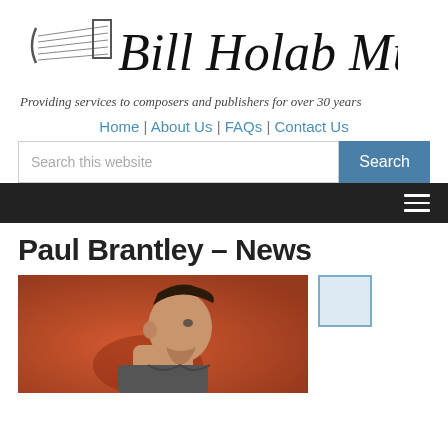[Figure (logo): Bill Holab Music logo with musical staff lines graphic and stylized script text]
Providing services to composers and publishers for over 30 years
Home | About Us | FAQs | Contact Us
Search this website
Paul Brantley – News
[Figure (photo): Black and white/color photo of Paul Brantley, a young man in profile view against a reddish-orange wall background]